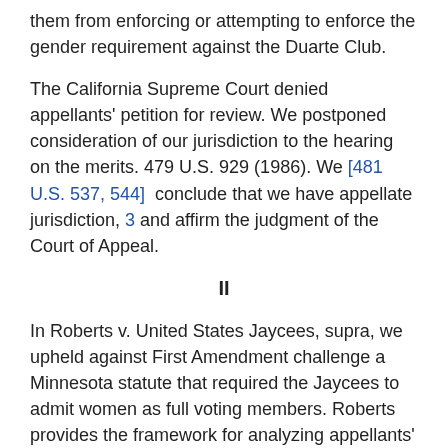them from enforcing or attempting to enforce the gender requirement against the Duarte Club.
The California Supreme Court denied appellants' petition for review. We postponed consideration of our jurisdiction to the hearing on the merits. 479 U.S. 929 (1986). We [481 U.S. 537, 544]   conclude that we have appellate jurisdiction, 3 and affirm the judgment of the Court of Appeal.
II
In Roberts v. United States Jaycees, supra, we upheld against First Amendment challenge a Minnesota statute that required the Jaycees to admit women as full voting members. Roberts provides the framework for analyzing appellants' constitutional claims. As we observed in Roberts, our cases have afforded constitutional protection to freedom of association in two distinct senses. First, the Court has